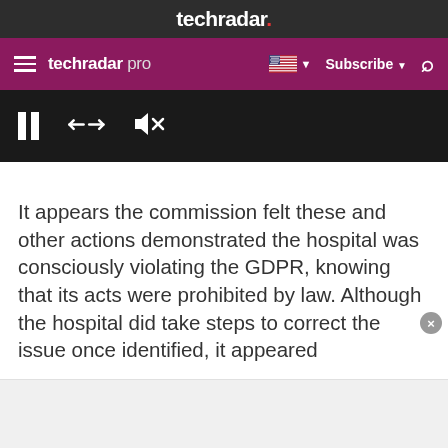techradar.
techradar pro | Subscribe
[Figure (screenshot): Video player controls bar with pause, expand, and mute icons on dark background]
It appears the commission felt these and other actions demonstrated the hospital was consciously violating the GDPR, knowing that its acts were prohibited by law. Although the hospital did take steps to correct the issue once identified, it appeared